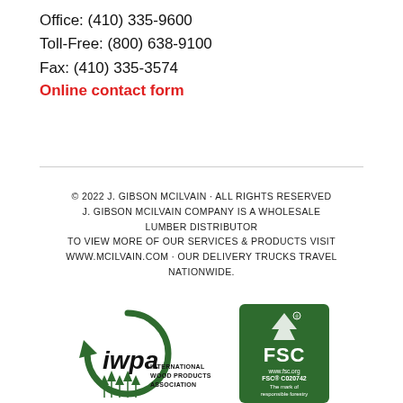Office: (410) 335-9600
Toll-Free: (800) 638-9100
Fax: (410) 335-3574
Online contact form
© 2022 J. GIBSON MCILVAIN · ALL RIGHTS RESERVED J. GIBSON MCILVAIN COMPANY IS A WHOLESALE LUMBER DISTRIBUTOR TO VIEW MORE OF OUR SERVICES & PRODUCTS VISIT WWW.MCILVAIN.COM · OUR DELIVERY TRUCKS TRAVEL NATIONWIDE.
[Figure (logo): IWPA International Wood Products Association logo with green circular arrow and tree icons]
[Figure (logo): FSC certification logo, dark green box with tree/person icon, FSC www.fsc.org, FSC-C020742, The mark of responsible forestry]